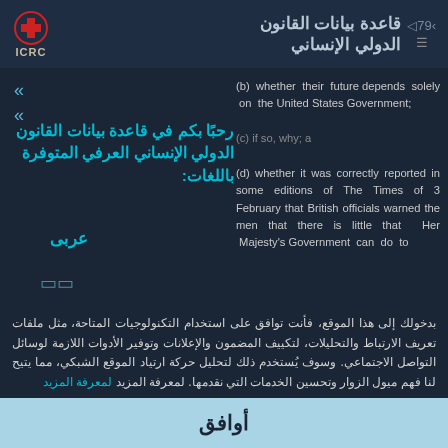قاعدة بيانات القانون الدولي الإنساني | ICRC
(b) whether their future depends solely on the United States Government;
رحبًا بكم في قاعدة بيانات القانون الدولي الإنساني العرفي المتوفرة باللغات:
عربى
(c) if so, why; a
(d) whether it was correctly reported in some editions of The Times of 3 February that British officials warned the men that there is little that Her Majesty's Government can do to
بدخولك إلى هذا الموقع، فأنت توافق على استخدام التكنولوجيات المتاحة، مثل ملفات تعريف الارتباط والتحليلات، لتكييف المضمون والإعلانات وتوفير الأدوات اللازمة لوسائل التواصل الاجتماعي. وسوف يُستخدم ذلك لتحليل حركة ارتياد الموقع الشبكي، مما يتيح لنا فهم ميول الزوار وتحسين الخدمات التي نقدمها. لمعرفة المزيد لمعرفة المزيد
أوافق